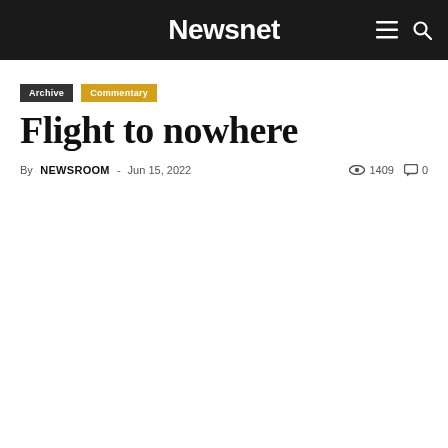Newsnet
Archive
Commentary
Flight to nowhere
By NEWSROOM - Jun 15, 2022  1409  0